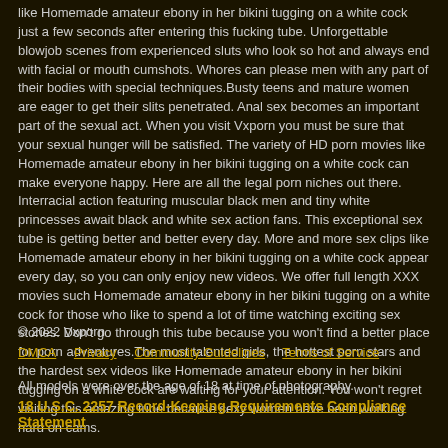like Homemade amateur ebony in her bikini tugging on a white cock just a few seconds after entering this fucking tube. Unforgettable blowjob scenes from experienced sluts who look so hot and always end with facial or mouth cumshots. Whores can please men with any part of their bodies with special techniques.Busty teens and mature women are eager to get their slits penetrated. Anal sex becomes an important part of the sexual act. When you visit Vxporn you must be sure that your sexual hunger will be satisfied. The variety of HD porn movies like Homemade amateur ebony in her bikini tugging on a white cock can make everyone happy. Here are all the legal porn niches out there. Interracial action featuring muscular black men and tiny white princesses await black and white sex action fans. This exceptional sex tube is getting better and better every day. More and more sex clips like Homemade amateur ebony in her bikini tugging on a white cock appear every day, so you can only enjoy new videos. We offer full length XXX movies such Homemade amateur ebony in her bikini tugging on a white cock for those who like to spend a lot of time watching exciting sex stories. Don't go through this tube because you won't find a better place for porn adventures.The most talented girls, the hottest porn stars and the hardest sex videos like Homemade amateur ebony in her bikini tugging on a white cock are waiting for your attention. You won't regret visiting this amazing tube because sexy women have been working hard on cams.
© 2022 Vxporn
DMCA  Privacy  Community Guidelines  Terms of Service
All models were over the age of 18 at time of photography.
18 U.S.C. 2257 Record-Keeping Requirements Compliance Statement